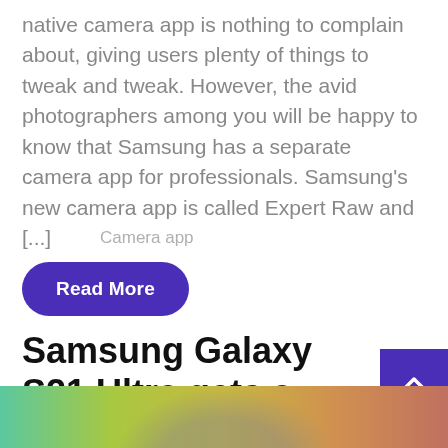native camera app is nothing to complain about, giving users plenty of things to tweak and tweak. However, the avid photographers among you will be happy to know that Samsung has a separate camera app for professionals. Samsung's new camera app is called Expert Raw and [...]
Camera app
Read More
Samsung Galaxy S21 Ultra gets a new, mor...
[Figure (photo): Colorful image strip at the bottom of the page showing a gradient from green to orange-red with dark circular shapes suggesting phone cameras.]